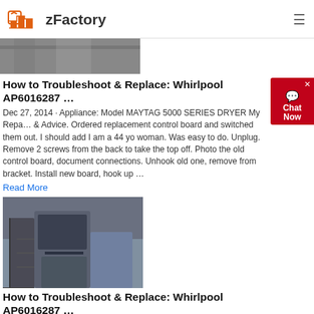zFactory
[Figure (photo): Aerial view of industrial machinery, partially cropped at top]
How to Troubleshoot & Replace: Whirlpool AP6016287 ...
Dec 27, 2014 · Appliance: Model MAYTAG 5000 SERIES DRYER My Repair & Advice. Ordered replacement control board and switched them out. I should add I am a 44 yo woman. Was easy to do. Unplug. Remove 2 screws from the back to take the top off. Photo the old control board document connections. Unhook old one, remove from bracket. Install new board, hook up ...
Read More
[Figure (photo): Aerial view of large industrial crushing or processing equipment with metal framework and structures]
How to Troubleshoot & Replace: Whirlpool AP6016287 ...
Dec 27, 2014 · Appliance: Model MAYTAG 5000 SERIES DRYER My Repair & Advice. Ordered replacement control board and switched them out. I